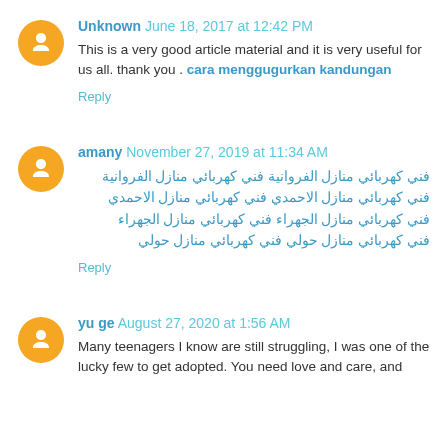Unknown June 18, 2017 at 12:42 PM
This is a very good article material and it is very useful for us all. thank you . cara menggugurkan kandungan
Reply
amany November 27, 2019 at 11:34 AM
فني كهربائي منازل الفروانية فني كهربائي منازل الفروانية فني كهربائي منازل الاحمدي فني كهربائي منازل الاحمدي فني كهربائي منازل الجهراء فني كهربائي منازل الجهراء فني كهربائي منازل حولي فني كهربائي منازل حولي
Reply
yu ge August 27, 2020 at 1:56 AM
Many teenagers I know are still struggling, I was one of the lucky few to get adopted. You need love and care, and